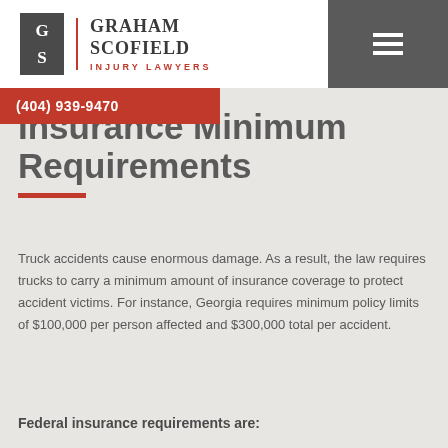[Figure (logo): Graham Scofield Injury Lawyers logo with G S initials in dark box and red divider]
(404) 939-9470
Insurance Minimum Requirements
Truck accidents cause enormous damage. As a result, the law requires trucks to carry a minimum amount of insurance coverage to protect accident victims. For instance, Georgia requires minimum policy limits of $100,000 per person affected and $300,000 total per accident.
Federal insurance requirements are: